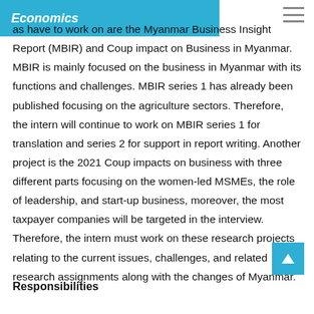Economics
as have to work on are the Myanmar Business Insight Report (MBIR) and Coup impact on Business in Myanmar. MBIR is mainly focused on the business in Myanmar with its functions and challenges. MBIR series 1 has already been published focusing on the agriculture sectors. Therefore, the intern will continue to work on MBIR series 1 for translation and series 2 for support in report writing. Another project is the 2021 Coup impacts on business with three different parts focusing on the women-led MSMEs, the role of leadership, and start-up business, moreover, the most taxpayer companies will be targeted in the interview. Therefore, the intern must work on these research projects relating to the current issues, challenges, and related research assignments along with the changes of Myanmar.
Responsibilities